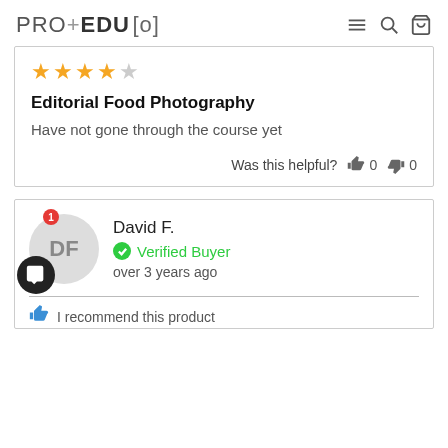PRO+EDU [o]
[Figure (other): 4 out of 5 star rating with golden stars]
Editorial Food Photography
Have not gone through the course yet
Was this helpful? 👍 0 👎 0
[Figure (other): User avatar circle with initials DF for David F., with chat bubble icon and notification badge]
David F.
Verified Buyer
over 3 years ago
I recommend this product